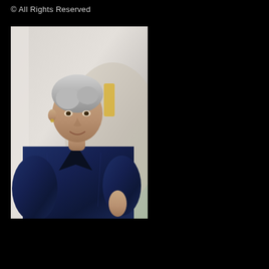© All Rights Reserved
[Figure (photo): Professional portrait photo of a middle-aged woman with short grey hair, wearing a dark navy denim blazer over a black top, smiling, photographed outdoors against a light wall background with blurred urban elements. Photo is positioned in the upper-left portion of an otherwise black page.]